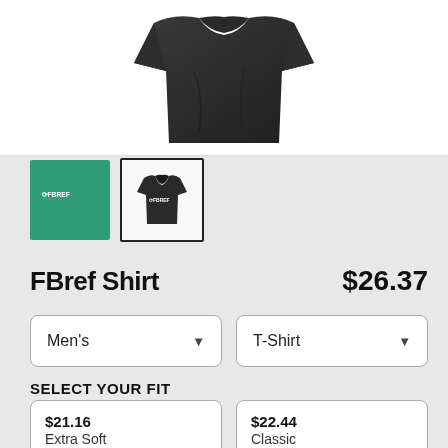[Figure (photo): Dark/black folded t-shirt product photo on white background]
[Figure (photo): Two product thumbnails: green FBref logo square and small black t-shirt thumbnail with border]
FBref Shirt
$26.37
Men's (dropdown) | T-Shirt (dropdown)
SELECT YOUR FIT
$21.16
Extra Soft
$22.44
Classic